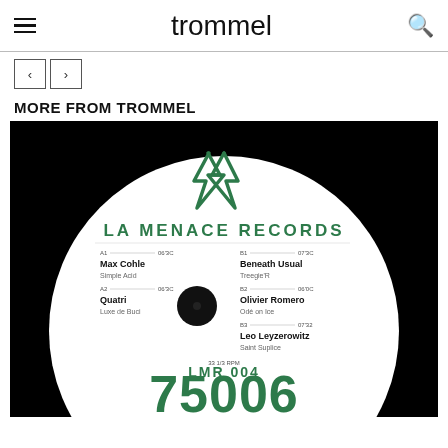trommel
< >
MORE FROM TROMMEL
[Figure (photo): La Menace Records vinyl record label showing LMR 004. Artists listed: Max Cohle - Simple Acid, Quatri - Luxe de Buci, Beneath Usual - Treegie'R, Olivier Romero - Odé on Ice, Leo Leyzerowitz - Saint Suplice. Large text reads 75006.]